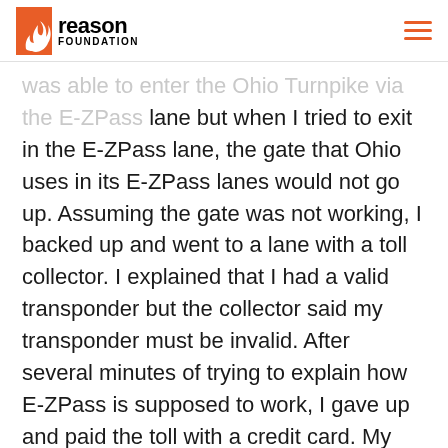reason FOUNDATION
was able to enter the Ohio Turnpike via the E-ZPass lane but when I tried to exit in the E-ZPass lane, the gate that Ohio uses in its E-ZPass lanes would not go up. Assuming the gate was not working, I backed up and went to a lane with a toll collector. I explained that I had a valid transponder but the collector said my transponder must be invalid. After several minutes of trying to explain how E-ZPass is supposed to work, I gave up and paid the toll with a credit card. My trip through Pennsylvania was uneventful so I assumed the problem was with Ohio's system.
But several weeks later, I received two Pennsylvania violation notices in the mail. I